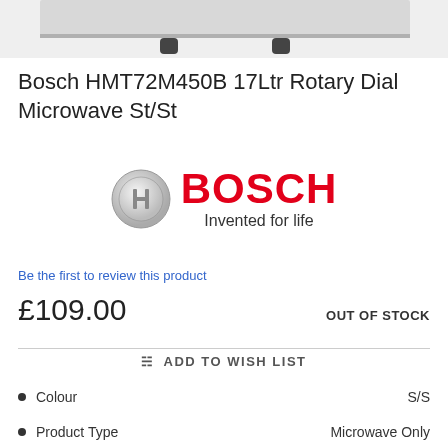[Figure (photo): Partial product image of Bosch microwave, showing bottom edge with feet against white/grey background]
Bosch HMT72M450B 17Ltr Rotary Dial Microwave St/St
[Figure (logo): Bosch logo: circular silver badge with Bosch icon, and red BOSCH wordmark with tagline 'Invented for life']
Be the first to review this product
£109.00
OUT OF STOCK
ADD TO WISH LIST
Colour   S/S
Product Type   Microwave Only